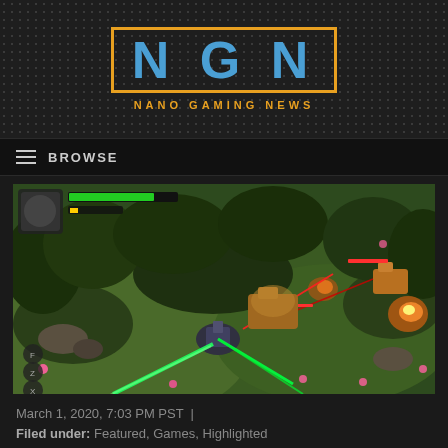[Figure (logo): NGN Nano Gaming News logo with orange border, blue letters NGN, orange tagline NANO GAMING NEWS on dark dotted background]
BROWSE
[Figure (screenshot): Video game screenshot showing top-down view of a mech/robot game with green laser beams, explosions, lush green terrain, game HUD with health bar and currency display]
March 1, 2020, 7:03 PM PST  |
Filed under: Featured, Games, Highlighted